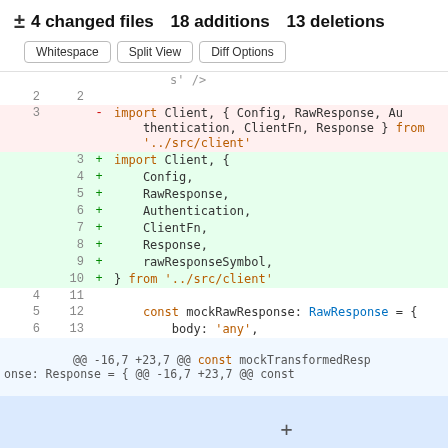± 4 changed files  18 additions  13 deletions
Buttons: Whitespace | Split View | Diff Options
[Figure (screenshot): Code diff view showing removal of a single-line import and addition of a multi-line import from '../src/client', followed by unchanged lines showing const mockRawResponse and body declarations, and a hunk header for @@ -16,7 +23,7 @@ const mockTransformedResponse: Response = {]